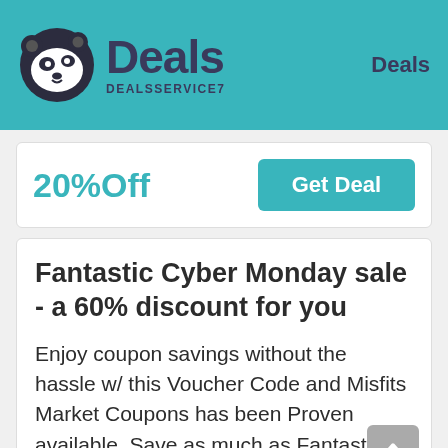Deals DEALSSERVICE7 | Deals
20%Off
Get Deal
Fantastic Cyber Monday sale - a 60% discount for you
Enjoy coupon savings without the hassle w/ this Voucher Code and Misfits Market Coupons has been Proven available. Save as much as Fantastic Cyber Monday sale - a 60% discount for you. It's time limited. Click it and Check